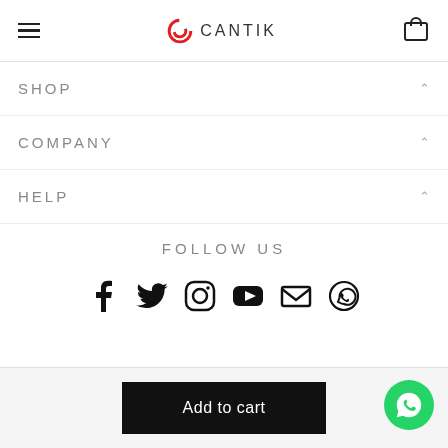CANTIK
SHOP
COMPANY
HELP
FOLLOW US
[Figure (infographic): Social media icons: Facebook, Twitter, Instagram, YouTube, Email, WhatsApp]
Add to cart